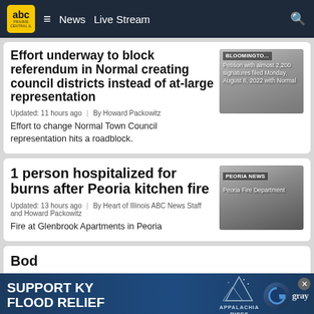abc News  Live Stream
Effort underway to block referendum in Normal creating council districts instead of at-large representation
Updated: 11 hours ago  |  By Howard Packowitz
Effort to change Normal Town Council representation hits a roadblock.
1 person hospitalized for burns after Peoria kitchen fire
Updated: 13 hours ago  |  By Heart of Illinois ABC News Staff and Howard Packowitz
Fire at Glenbrook Apartments in Peoria
SUPPORT KY FLOOD RELIEF  APPALACHIA RISES  gray
Bod...